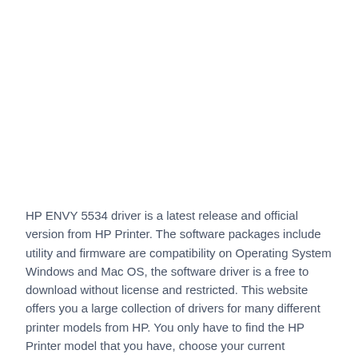HP ENVY 5534 driver is a latest release and official version from HP Printer. The software packages include utility and firmware are compatibility on Operating System Windows and Mac OS, the software driver is a free to download without license and restricted. This website offers you a large collection of drivers for many different printer models from HP. You only have to find the HP Printer model that you have, choose your current operating system, and download the driver that you need.